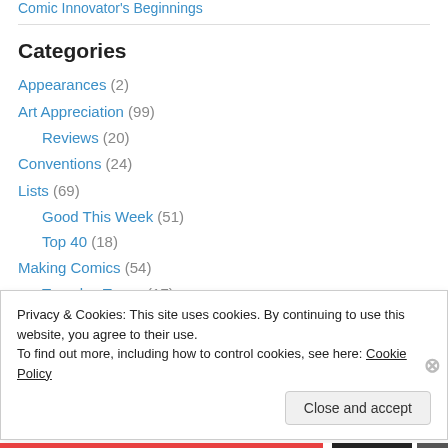Comic Innovator's Beginnings
Categories
Appearances (2)
Art Appreciation (99)
Reviews (20)
Conventions (24)
Lists (69)
Good This Week (51)
Top 40 (18)
Making Comics (54)
Tuesday Tease (17)
Privacy & Cookies: This site uses cookies. By continuing to use this website, you agree to their use.
To find out more, including how to control cookies, see here: Cookie Policy
Close and accept